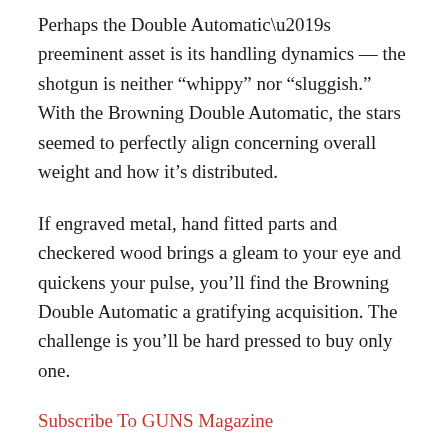Perhaps the Double Automatic’s preeminent asset is its handling dynamics — the shotgun is neither “whippy” nor “sluggish.” With the Browning Double Automatic, the stars seemed to perfectly align concerning overall weight and how it’s distributed.
If engraved metal, hand fitted parts and checkered wood brings a gleam to your eye and quickens your pulse, you’ll find the Browning Double Automatic a gratifying acquisition. The challenge is you’ll be hard pressed to buy only one.
Subscribe To GUNS Magazine